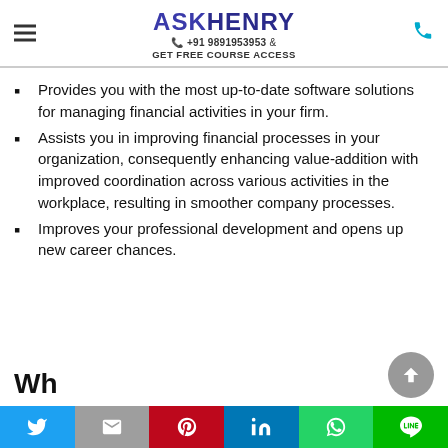ASKHENRY +91 9891953953 & GET FREE COURSE ACCESS
Provides you with the most up-to-date software solutions for managing financial activities in your firm.
Assists you in improving financial processes in your organization, consequently enhancing value-addition with improved coordination across various activities in the workplace, resulting in smoother company processes.
Improves your professional development and opens up new career chances.
Wh... (partial)